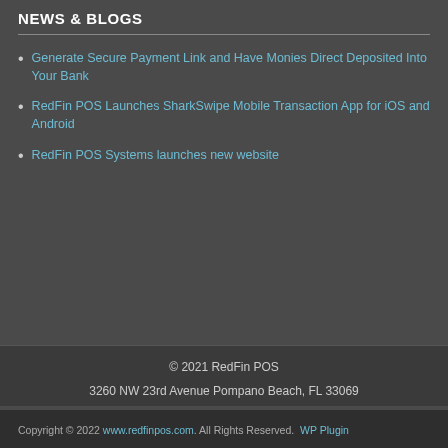NEWS & BLOGS
Generate Secure Payment Link and Have Monies Direct Deposited Into Your Bank
RedFin POS Launches SharkSwipe Mobile Transaction App for iOS and Android
RedFin POS Systems launches new website
© 2021 RedFin POS
3260 NW 23rd Avenue Pompano Beach, FL 33069
Copyright © 2022 www.redfinpos.com. All Rights Reserved. WP Plugin